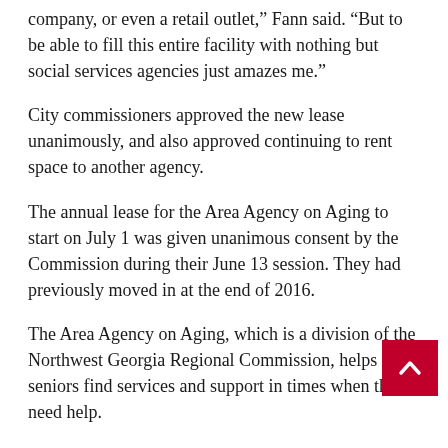company, or even a retail outlet,” Fann said. “But to be able to fill this entire facility with nothing but social services agencies just amazes me.”
City commissioners approved the new lease unanimously, and also approved continuing to rent space to another agency.
The annual lease for the Area Agency on Aging to start on July 1 was given unanimous consent by the Commission during their June 13 session. They had previously moved in at the end of 2016.
The Area Agency on Aging, which is a division of the Northwest Georgia Regional Commission, helps local seniors find services and support in times when they need help.
The Polk County Foster Parent Association and Georgia Northwestern Technical College are among some of the others who have space in One Door Polk as well.
One Door Polk began life as the former Polk Medical Center